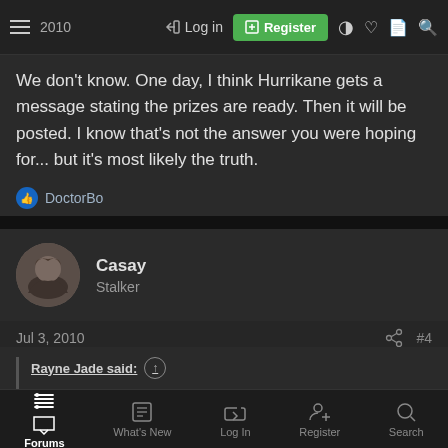2010 | Log in | Register
We don't know. One day, I think Hurrikane gets a message stating the prizes are ready. Then it will be posted. I know that's not the answer you were hoping for... but it's most likely the truth.
DoctorBo
Casay
Stalker
Jul 3, 2010  #4
Rayne Jade said:
We don't know. One day, I think Hurrikane gets a message stating the prizes are ready. Then it will be posted. I know that's not the answer
Forums | What's New | Log In | Register | Search